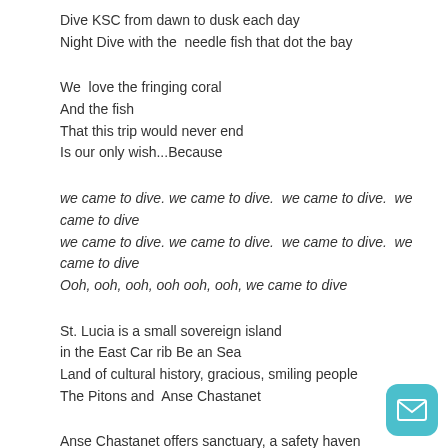Dive KSC from dawn to dusk each day
Night Dive with the  needle fish that dot the bay
We  love the fringing coral
And the fish
That this trip would never end
Is our only wish...Because
we came to dive. we came to dive.  we came to dive.  we came to dive
we came to dive. we came to dive.  we came to dive.  we came to dive
Ooh, ooh, ooh, ooh ooh, ooh, we came to dive
St. Lucia is a small sovereign island
in the East Car rib Be an Sea
Land of cultural history, gracious, smiling people
The Pitons and  Anse Chastanet
Anse Chastanet offers sanctuary, a safety haven
For turtles, fish and ray